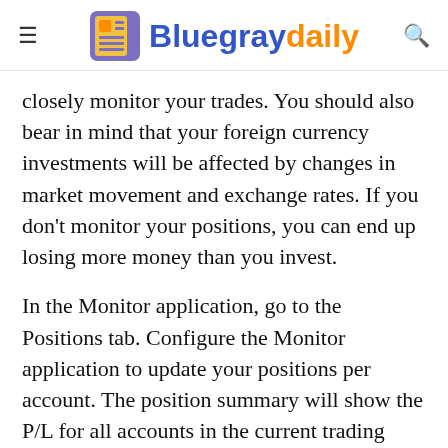Bluegraydaily
closely monitor your trades. You should also bear in mind that your foreign currency investments will be affected by changes in market movement and exchange rates. If you don't monitor your positions, you can end up losing more money than you invest.
In the Monitor application, go to the Positions tab. Configure the Monitor application to update your positions per account. The position summary will show the P/L for all accounts in the current trading session. Click